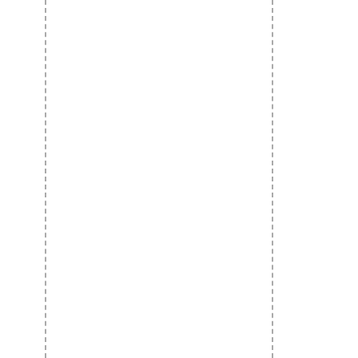new version supports all SyncML standards from 1.0 up to the new 1. version which is required for recent mobile devices. The 3.0 release further enhances the basic approach of the Synthesis SyncML Server product line - providing a solid and widely field tested SyncML solution for easy integration into existing applications. Support for SyncML D 1.2 "Suspend&Resume" enhances stability and efficiency even for intermittent network connectivity. Unlike previous versions, 3.0 is now directly available for download and can be evaluated for free during 60 days.
(Read entire news message)
2006-11-27 - Today, Synthesis AG released the 3.0 version of its widely used Synthesis SyncML Clients for PDA products (for PalmOS and Windows Mobile based handhelds and smartphones). The new version is available now f